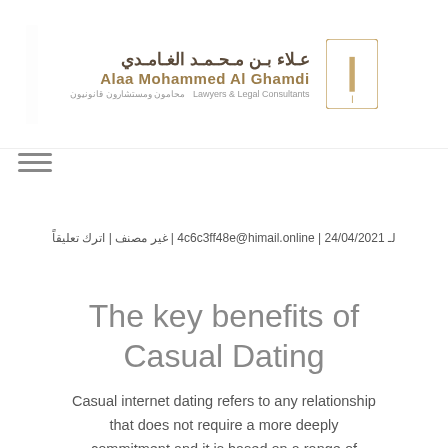[Figure (logo): Alaa Mohammed Al Ghamdi law firm logo with Arabic name, English name, 'Lawyers & Legal Consultants' tagline in Arabic and English, and a golden Arabic calligraphy icon]
لـ 24/04/2021 | 4c6c3ff48e@himail.online | غير مصنف | اترك تعليقاً
The key benefits of Casual Dating
Casual internet dating refers to any relationship that does not require a more deeply commitment and it is based on a range of